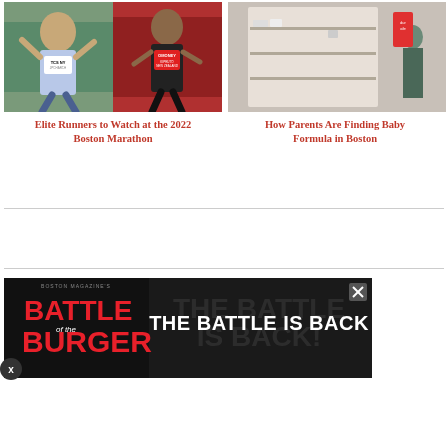[Figure (photo): Two elite runners — a female runner with bib JPCHARCH and a male runner with bib KIPRUTO wearing Adidas gear — running in marathon events]
Elite Runners to Watch at the 2022 Boston Marathon
[Figure (photo): Empty store shelves in a refrigerated baby formula aisle at a retail store]
How Parents Are Finding Baby Formula in Boston
[Figure (infographic): Advertisement for Boston Magazine's Battle of the Burger event with text THE BATTLE IS BACK on dark background with red Battle of the Burger logo on left]